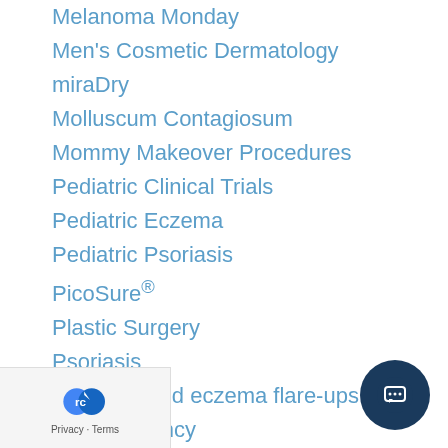Melanoma Monday
Men's Cosmetic Dermatology
miraDry
Molluscum Contagiosum
Mommy Makeover Procedures
Pediatric Clinical Trials
Pediatric Eczema
Pediatric Psoriasis
PicoSure®
Plastic Surgery
Psoriasis
Psoriasis and eczema flare-ups
Radiofrequency
Radiofrequency Microneedling
Rhinoplasty